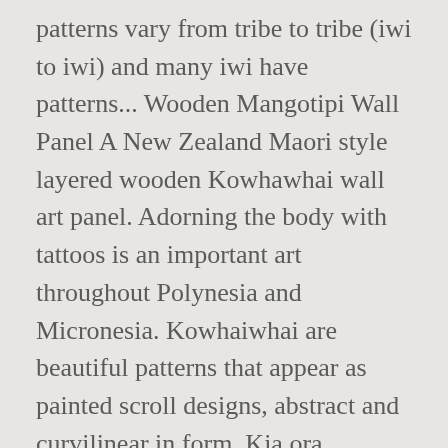patterns vary from tribe to tribe (iwi to iwi) and many iwi have patterns... Wooden Mangotipi Wall Panel A New Zealand Maori style layered wooden Kowhawhai wall art panel. Adorning the body with tattoos is an important art throughout Polynesia and Micronesia. Kowhaiwhai are beautiful patterns that appear as painted scroll designs, abstract and curvilinear in form. Kia ora, Welcome to my first Vlog. Decal ... Pencils or felt tip pens. kowhaiwhai on rafters. Latter ... Māori culture forms a distinctive part of New Zealand culture and, due to a large diaspora and the incorporation of Māori motifs into popular culture, it is found throughout the world. The unique tattoo pattern carved on his face